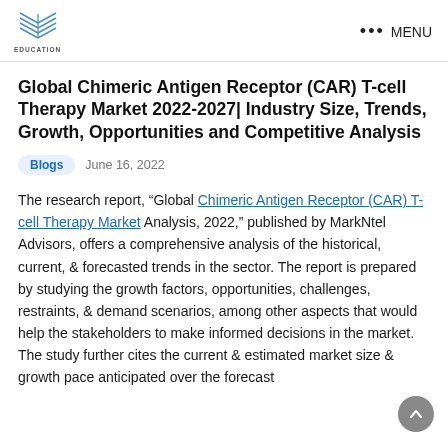EDUCATION | MENU
Global Chimeric Antigen Receptor (CAR) T-cell Therapy Market 2022-2027| Industry Size, Trends, Growth, Opportunities and Competitive Analysis
Blogs   June 16, 2022
The research report, “Global Chimeric Antigen Receptor (CAR) T-cell Therapy Market Analysis, 2022,” published by MarkNtel Advisors, offers a comprehensive analysis of the historical, current, & forecasted trends in the sector. The report is prepared by studying the growth factors, opportunities, challenges, restraints, & demand scenarios, among other aspects that would help the stakeholders to make informed decisions in the market. The study further cites the current & estimated market size & growth pace anticipated over the forecast...